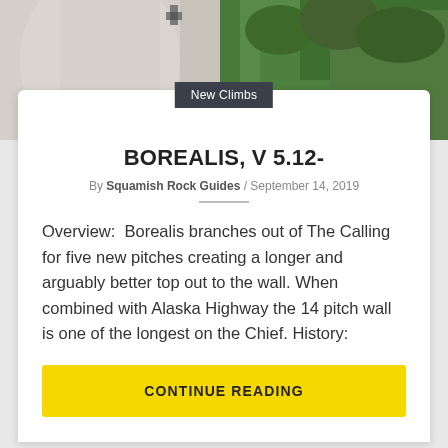[Figure (photo): Rock climbing photo showing a climber on a granite wall with green forest in background]
New Climbs
BOREALIS, V 5.12-
By Squamish Rock Guides / September 14, 2019
Overview:  Borealis branches out of The Calling for five new pitches creating a longer and arguably better top out to the wall. When combined with Alaska Highway the 14 pitch wall is one of the longest on the Chief. History:
CONTINUE READING